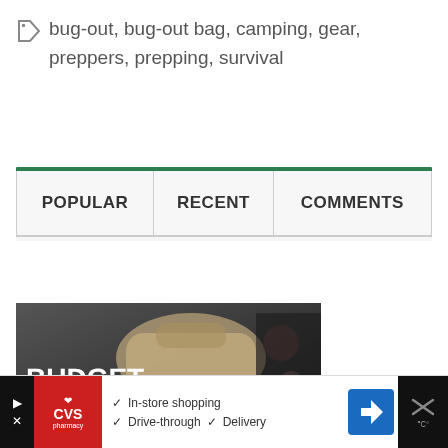bug-out, bug-out bag, camping, gear, preppers, prepping, survival
| POPULAR | RECENT | COMMENTS |
| --- | --- | --- |
[Figure (photo): Dark image showing a bug-out bag / backpack with text overlay reading 'BUDGET BUG OUT BAG ESSENTIALS.']
[Figure (infographic): CVS Pharmacy advertisement banner showing In-store shopping, Drive-through, and Delivery options with a navigation/direction icon]